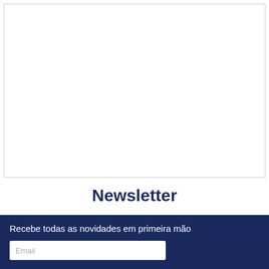[Figure (other): White rectangular box with thin border, representing a placeholder image or content area]
Newsletter
Recebe todas as novidades em primeira mão
Email